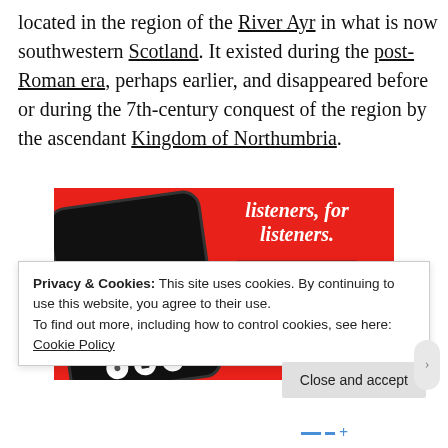located in the region of the River Ayr in what is now southwestern Scotland. It existed during the post-Roman era, perhaps earlier, and disappeared before or during the 7th-century conquest of the region by the ascendant Kingdom of Northumbria.
[Figure (illustration): Advertisement banner with red background. Left side shows a smartphone displaying a podcast app with the text 'Dis-trib-uted'. Right side shows white italic text reading 'listeners, for listeners.' with a dark red 'Download now' button.]
Privacy & Cookies: This site uses cookies. By continuing to use this website, you agree to their use.
To find out more, including how to control cookies, see here: Cookie Policy
Close and accept